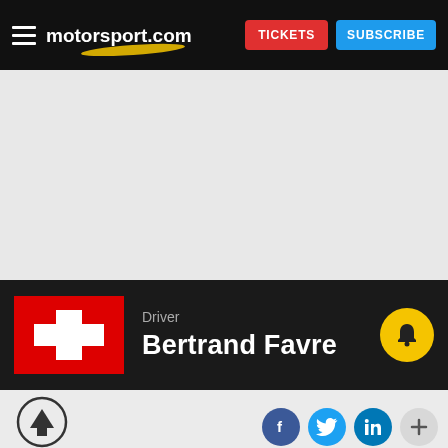motorsport.com | TICKETS | SUBSCRIBE
[Figure (screenshot): Gray content/advertisement area placeholder]
Driver
Bertrand Favre
[Figure (illustration): Home/up arrow circle icon]
[Figure (illustration): Social media share icons: Facebook, Twitter, LinkedIn, plus more]